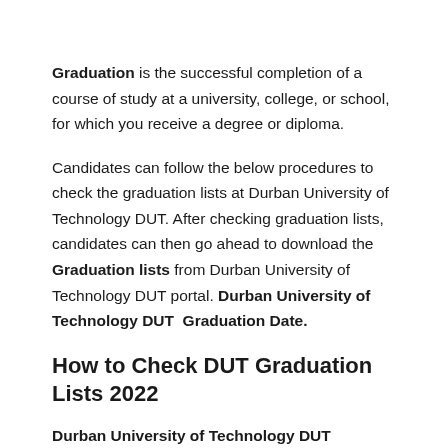Graduation is the successful completion of a course of study at a university, college, or school, for which you receive a degree or diploma.
Candidates can follow the below procedures to check the graduation lists at Durban University of Technology DUT. After checking graduation lists, candidates can then go ahead to download the Graduation lists from Durban University of Technology DUT portal. Durban University of Technology DUT  Graduation Date.
How to Check DUT Graduation Lists 2022
Durban University of Technology DUT Graduation lists are successfully uploaded online, to check the